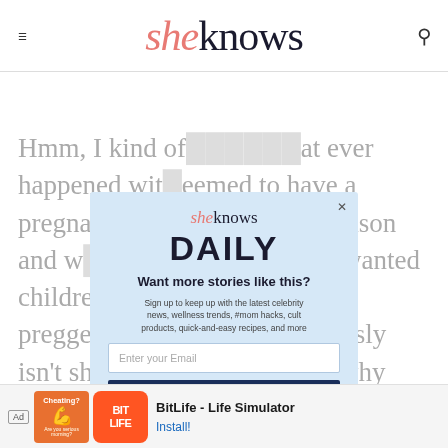sheknows
Hmm, I kind of wonder what ever happened with ... seemed to have a pregna... nning of the season and w... her or not he wanted children. Perhaps she really is preggers? Although she obviously isn't showing, so I'm not sure why that would prevent her from wanting to get
[Figure (screenshot): SheKnows Daily newsletter signup modal overlay with email input and Sign up button]
[Figure (infographic): Ad bar: Cheating? ad with BitLife - Life Simulator app install prompt]